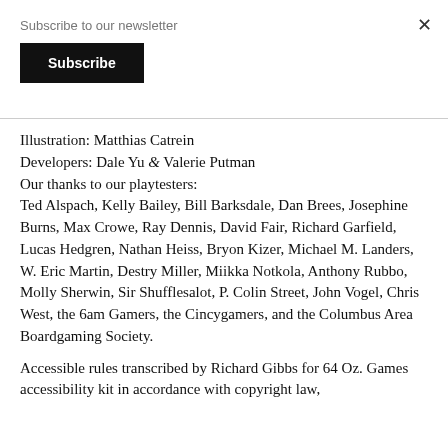Subscribe to our newsletter
Subscribe
×
Illustration: Matthias Catrein
Developers: Dale Yu & Valerie Putman
Our thanks to our playtesters:
Ted Alspach, Kelly Bailey, Bill Barksdale, Dan Brees, Josephine Burns, Max Crowe, Ray Dennis, David Fair, Richard Garfield, Lucas Hedgren, Nathan Heiss, Bryon Kizer, Michael M. Landers, W. Eric Martin, Destry Miller, Miikka Notkola, Anthony Rubbo, Molly Sherwin, Sir Shufflesalot, P. Colin Street, John Vogel, Chris West, the 6am Gamers, the Cincygamers, and the Columbus Area Boardgaming Society.
Accessible rules transcribed by Richard Gibbs for 64 Oz. Games accessibility kit in accordance with copyright law,